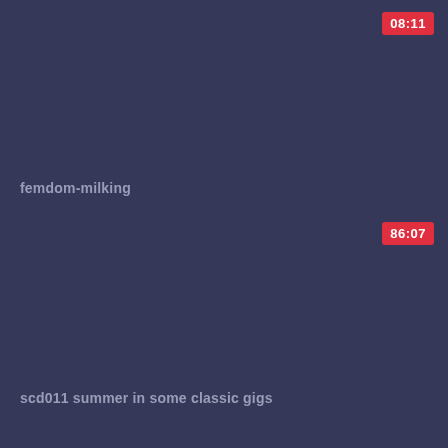[Figure (screenshot): Video thumbnail card, dark blue-grey background, top card]
08:11
femdom-milking
[Figure (screenshot): Video thumbnail card, dark blue-grey background, middle card]
86:07
scd011 summer in some classic gigs
[Figure (screenshot): Partial video thumbnail card at bottom]